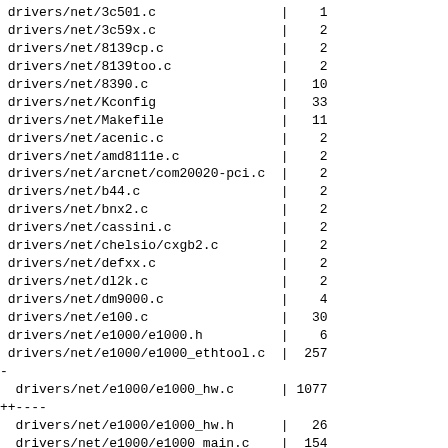drivers/net/3c501.c | 1
drivers/net/3c59x.c | 2
drivers/net/8139cp.c | 2
drivers/net/8139too.c | 2
drivers/net/8390.c | 10
drivers/net/Kconfig | 33
drivers/net/Makefile | 11
drivers/net/acenic.c | 2
drivers/net/amd8111e.c | 2
drivers/net/arcnet/com20020-pci.c | 2
drivers/net/b44.c | 2
drivers/net/bnx2.c | 2
drivers/net/cassini.c | 2
drivers/net/chelsio/cxgb2.c | 2
drivers/net/defxx.c | 2
drivers/net/dl2k.c | 2
drivers/net/dm9000.c | 4
drivers/net/e100.c | 30
drivers/net/e1000/e1000.h | 6
drivers/net/e1000/e1000_ethtool.c | 257
-
 drivers/net/e1000/e1000_hw.c | 1077
++----
 drivers/net/e1000/e1000_hw.h | 26
 drivers/net/e1000/e1000_main.c | 154
-
 drivers/net/e1000/e1000_param.c | 161
-
 drivers/net/eepro100.c | 2
drivers/net/epic100.c | 2
drivers/net/fealnx.c | 2